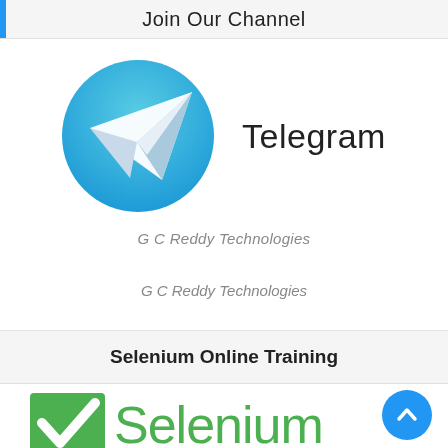Join Our Channel
[Figure (logo): Telegram logo: a blue circle with a white paper plane icon, followed by the text 'Telegram' in large sans-serif font]
G C Reddy Technologies
Selenium Online Training
[Figure (logo): Selenium logo: green square with white checkmark, and green text 'Selenium' partially visible]